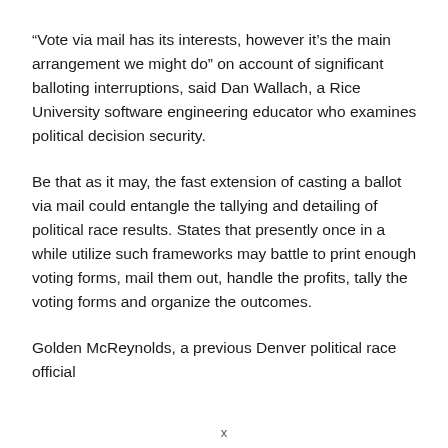“Vote via mail has its interests, however it’s the main arrangement we might do” on account of significant balloting interruptions, said Dan Wallach, a Rice University software engineering educator who examines political decision security.
Be that as it may, the fast extension of casting a ballot via mail could entangle the tallying and detailing of political race results. States that presently once in a while utilize such frameworks may battle to print enough voting forms, mail them out, handle the profits, tally the voting forms and organize the outcomes.
Golden McReynolds, a previous Denver political race official
x